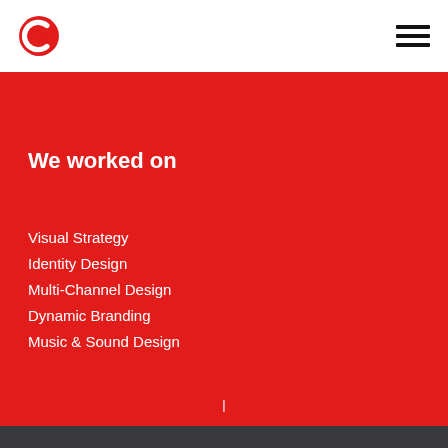Logo and navigation header
We worked on
Visual Strategy
Identity Design
Multi-Channel Design
Dynamic Branding
Music & Sound Design
|